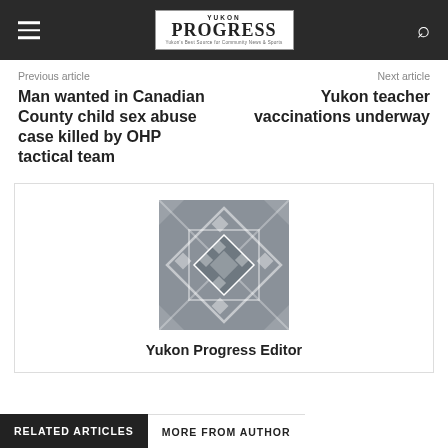Yukon Progress
Previous article
Next article
Man wanted in Canadian County child sex abuse case killed by OHP tactical team
Yukon teacher vaccinations underway
[Figure (illustration): Generic avatar placeholder with quilt/diamond pattern in gray]
Yukon Progress Editor
RELATED ARTICLES
MORE FROM AUTHOR